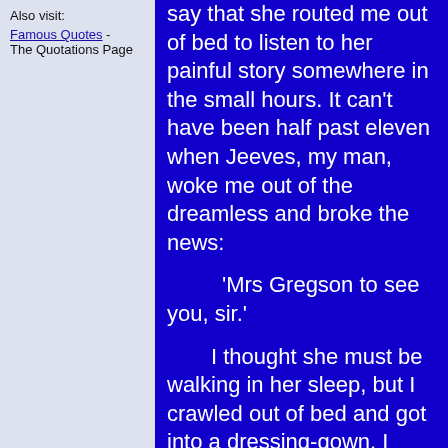Also visit:
Famous Quotes - The Quotations Page
say that she routed me out of bed to listen to her painful story somewhere in the small hours. It can't have been half past eleven when Jeeves, my man, woke me out of the dreamless and broke the news:
'Mrs Gregson to see you, sir.'
I thought she must be walking in her sleep, but I crawled out of bed and got into a dressing-gown. I knew Aunt Agatha well enough to know that, if she had come to see me, she was going to see me. That's the sort of woman she is.
She was sitting bolt upright in a chair, staring into space. When I came in she looked at me in that darn critical way that always makes me feel as if I had gelatine where my spine ought to be. Aunt Agatha is one of those strong...